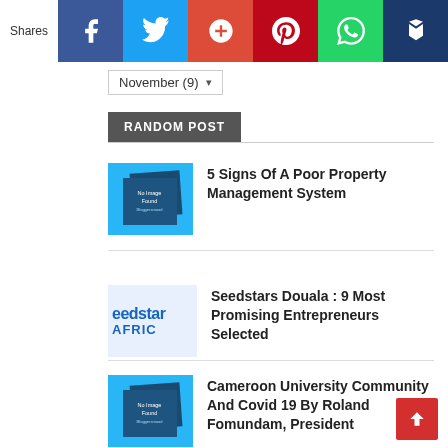Shares | Facebook | Twitter | Google+ | Pinterest | WhatsApp | Crown
November (9)
RANDOM POST
[Figure (other): No Image Found placeholder thumbnail]
5 Signs Of A Poor Property Management System
[Figure (other): Seedstars Africa partial logo thumbnail]
Seedstars Douala : 9 Most Promising Entrepreneurs Selected
[Figure (other): No Image Found placeholder thumbnail]
Cameroon University Community And Covid 19 By Roland Fomundam, President